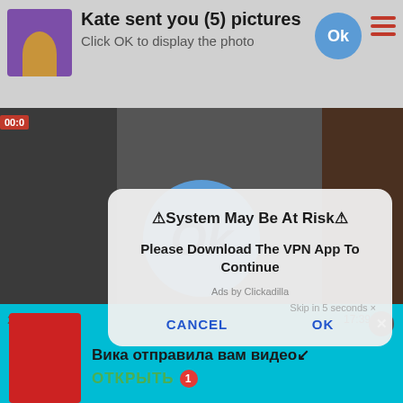Kate sent you (5) pictures
Click OK to display the photo
⚠System May Be At Risk⚠
Please Download The VPN App To Continue
Ads by Clickadilla
Skip in 5 seconds ×
CANCEL
OK
Вика отправила вам видео↙
ОТКРЫТЬ
17:39
2